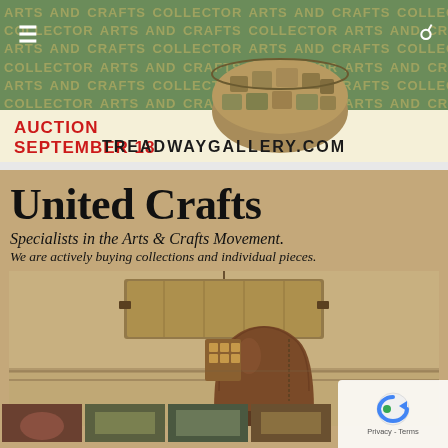[Figure (screenshot): Website header banner with tiled repeating text 'ARTS AND CRAFTS COLLECTOR' in gold on green background, with hamburger menu icon on left and search icon on right]
AUCTION
SEPTEMBER 18
[Figure (photo): Decorative ceramic bowl with mosaic-like pattern in earth tones, viewed from above at an angle]
TREADWAYGALLERY.COM
United Crafts
Specialists in the Arts & Crafts Movement.
We are actively buying collections and individual pieces.
[Figure (photo): Arts and Crafts style pendant lamp with mica shade suspended over a large brown ceramic pot/vase, with a small decorative lantern element, on a tan background]
[Figure (photo): Bottom row of four thumbnail images showing various Arts and Crafts movement objects and scenes]